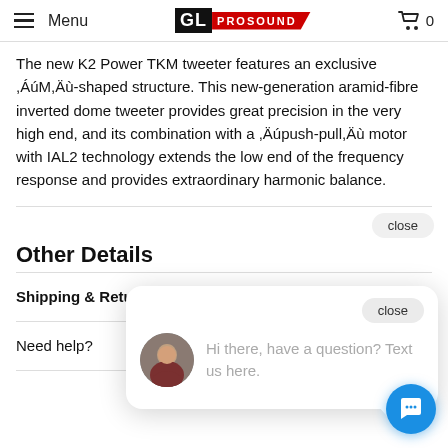Menu | GL PROSOUND | 0
The new K2 Power TKM tweeter features an exclusive “M”-shaped structure. This new-generation aramid-fibre inverted dome tweeter provides great precision in the very high end, and its combination with a “push-pull” motor with IAL2 technology extends the low end of the frequency response and provides extraordinary harmonic balance.
Other Details
Shipping & Returns +
Need help? +
[Figure (screenshot): Chat popup with avatar photo, close button, and text: Hi there, have a question? Text us here.]